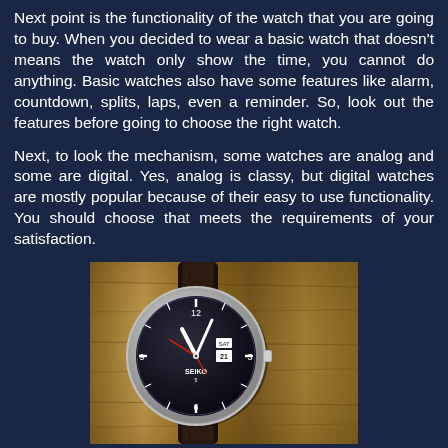Next point is the functionality of the watch that you are going to buy. When you decided to wear a basic watch that doesn't means the watch only show the time, you cannot do anything. Basic watches also have some features like alarm, countdown, splits, laps, even a reminder. So, look out the features before going to choose the right watch.
Next, to look the mechanism, some watches are analog and some are digital. Yes, analog is classy, but digital watches are mostly popular because of their easy to use functionality. You should choose that meets the requirements of your satisfaction.
[Figure (photo): Close-up photo of an analog Seiko watch with a black dial, silver case, and black leather strap, placed on a wooden surface.]